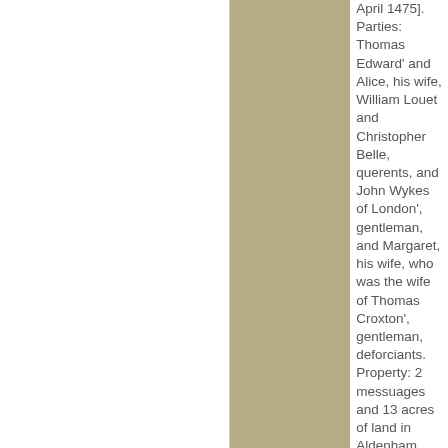April 1475]. Parties: Thomas Edward' and Alice, his wife, William Louet and Christopher Belle, querents, and John Wykes of London', gentleman, and Margaret, his wife, who was the wife of Thomas Croxton', gentleman, deforciants. Property: 2 messuages and 13 acres of land in Aldenham. Action: Plea of covenant. Agreement: John and Margaret have acknowledged the